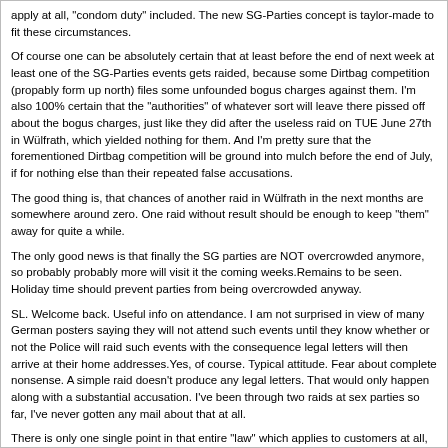apply at all, "condom duty" included. The new SG-Parties concept is taylor-made to fit these circumstances.
Of course one can be absolutely certain that at least before the end of next week at least one of the SG-Parties events gets raided, because some Dirtbag competition (propably form up north) files some unfounded bogus charges against them. I'm also 100% certain that the "authorities" of whatever sort will leave there pissed off about the bogus charges, just like they did after the useless raid on TUE June 27th in Wülfrath, which yielded nothing for them. And I'm pretty sure that the forementioned Dirtbag competition will be ground into mulch before the end of July, if for nothing else than their repeated false accusations.
The good thing is, that chances of another raid in Wülfrath in the next months are somewhere around zero. One raid without result should be enough to keep "them" away for quite a while.
The only good news is that finally the SG parties are NOT overcrowded anymore, so probably probably more will visit it the coming weeks.Remains to be seen. Holiday time should prevent parties from being overcrowded anyway.
SL. Welcome back. Useful info on attendance. I am not surprised in view of many German posters saying they will not attend such events until they know whether or not the Police will raid such events with the consequence legal letters will then arrive at their home addresses.Yes, of course. Typical attitude. Fear about complete nonsense. A simple raid doesn't produce any legal letters. That would only happen along with a substantial accusation. I've been through two raids at sex parties so far, I've never gotten any mail about that at all.
There is only one single point in that entire "law" which applies to customers at all, and that's the "condom duty". Provided that the entire law is applicable. So customers of a rubber-party aren't affected at all. Funny thing that I was told that Laureen Pink had only 3 guests at her first July condom-party. How stupid is that?